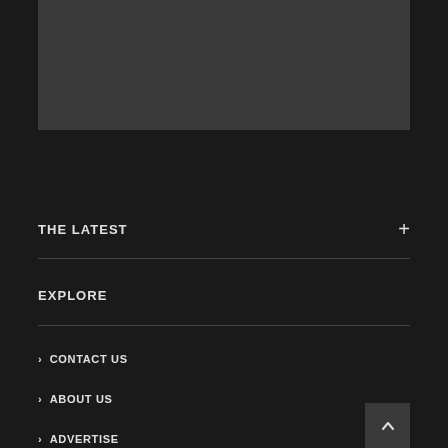[Figure (other): Dark gray rectangular image placeholder area at the top of the page]
THE LATEST
EXPLORE
> CONTACT US
> ABOUT US
> ADVERTISE